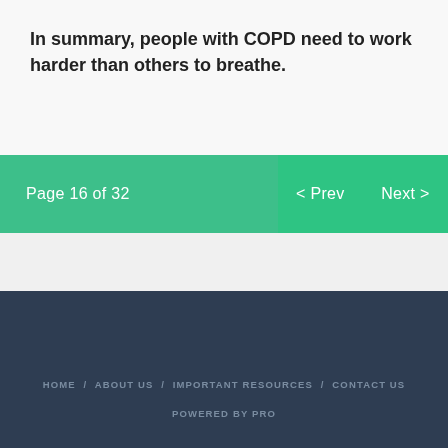In summary, people with COPD need to work harder than others to breathe.
Page 16 of 32  < Prev  Next >
HOME / ABOUT US / IMPORTANT RESOURCES / CONTACT US  POWERED BY PRO